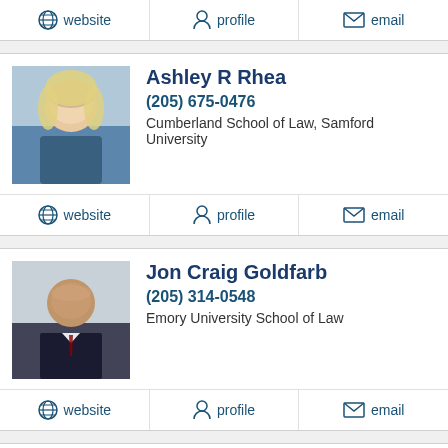[Figure (other): Top action bar with website, profile, email links (partial entry above Ashley R Rhea)]
[Figure (photo): Profile photo of Ashley R Rhea, blonde woman in blue sweater]
Ashley R Rhea
(205) 675-0476
Cumberland School of Law, Samford University
website | profile | email
[Figure (photo): Profile photo of Jon Craig Goldfarb, bald man in suit]
Jon Craig Goldfarb
(205) 314-0548
Emory University School of Law
website | profile | email
[Figure (photo): Partial profile photo of Brian Donald Turner]
Brian Donald Turner